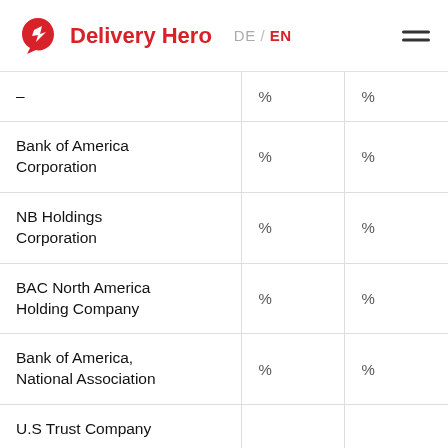Delivery Hero   DE / EN
|  |  |  |
| --- | --- | --- |
| – | % | % |
| Bank of America Corporation | % | % |
| NB Holdings Corporation | % | % |
| BAC North America Holding Company | % | % |
| Bank of America, National Association | % | % |
| U.S Trust Company |  |  |